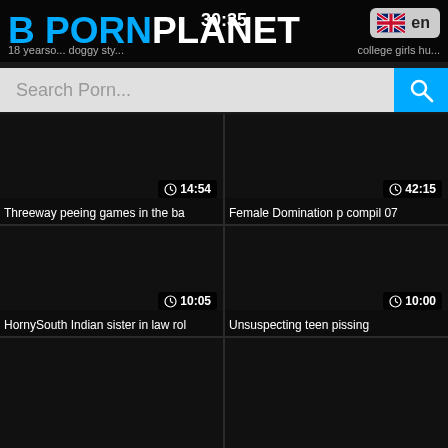B PORNPLANET
Search Porn...
[Figure (screenshot): Video thumbnail 1 - dark, duration 14:54, title: Threeway peeing games in the ba]
Threeway peeing games in the ba
[Figure (screenshot): Video thumbnail 2 - dark, duration 42:15, title: Female Domination p compil 07]
Female Domination p compil 07
[Figure (screenshot): Video thumbnail 3 - dark, duration 10:05, title: HornySouth Indian sister in law ro]
HornySouth Indian sister in law rol
[Figure (screenshot): Video thumbnail 4 - dark, duration 10:00, title: Unsuspecting teen pissing]
Unsuspecting teen pissing
[Figure (screenshot): Video thumbnail 5 - dark, no title visible]
[Figure (screenshot): Video thumbnail 6 - dark, no title visible]